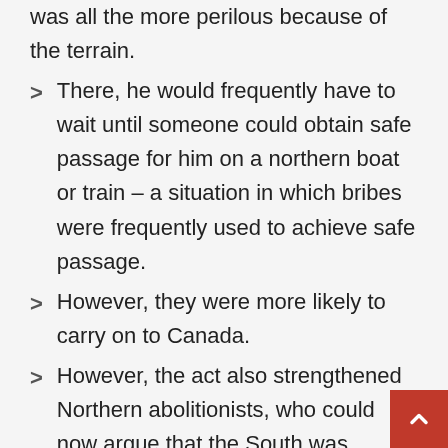was all the more perilous because of the terrain.
There, he would frequently have to wait until someone could obtain safe passage for him on a northern boat or train – a situation in which bribes were frequently used to achieve safe passage.
However, they were more likely to carry on to Canada.
However, the act also strengthened Northern abolitionists, who could now argue that the South was forcing slavery on the North as a result of the act.